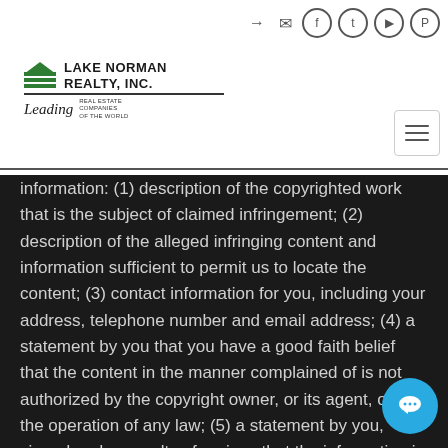Lake Norman Realty, Inc. — Leading Real Estate Companies in the World
information: (1) description of the copyrighted work that is the subject of claimed infringement; (2) description of the alleged infringing content and information sufficient to permit us to locate the content; (3) contact information for you, including your address, telephone number and email address; (4) a statement by you that you have a good faith belief that the content in the manner complained of is not authorized by the copyright owner, or its agent, or by the operation of any law; (5) a statement by you, signed under penalty of perjury, that the information in the notification is accurate and that you have the authority to enforce the copyrights that are claimed to be infringed; and (6) a physical or electronic signature of the copyright owner or a person authorized to act on the copyright owners behalf. Failure to include all of the above information may result in the delay of the